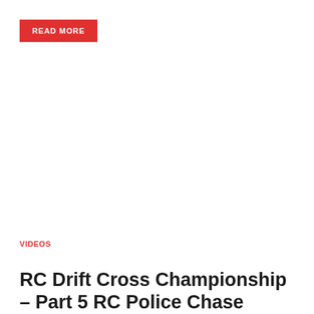READ MORE
VIDEOS
RC Drift Cross Championship – Part 5 RC Police Chase